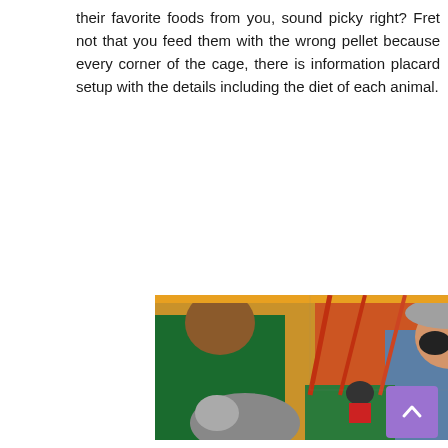their favorite foods from you, sound picky right? Fret not that you feed them with the wrong pellet because every corner of the cage, there is information placard setup with the details including the diet of each animal.
[Figure (photo): A zookeeper in a green polo shirt stands next to a smiling man wearing a gray hat and round sunglasses and a blue patterned jacket. A raccoon is being hand-fed in the foreground. The background shows a colorful animal enclosure with yellow walls and red metal structures.]